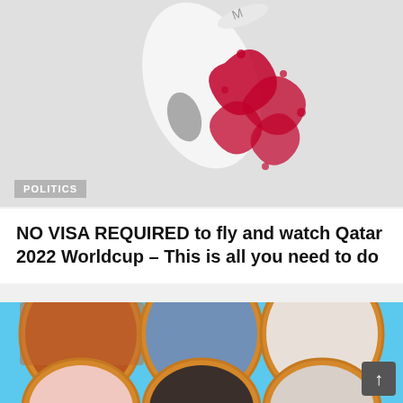[Figure (photo): Top portion of a Qatar 2022 World Cup related image showing a white teardrop-shaped object (possibly a trophy or charm) decorated with red floral/arabesque patterns on a light grey background.]
POLITICS
NO VISA REQUIRED to fly and watch Qatar 2022 Worldcup – This is all you need to do
[Figure (photo): Bottom section showing a light blue infographic-style image with circular portrait photos of celebrities including DJ Cuppy, Teni Otedola, and Ramsey Nouah, partially visible.]